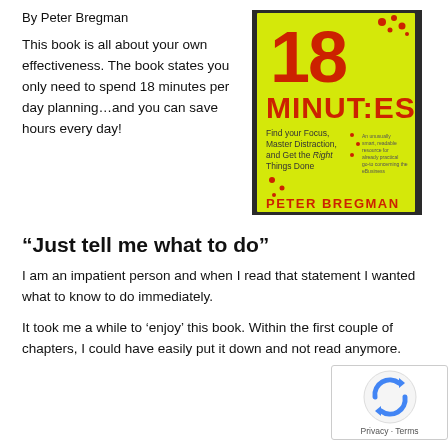By Peter Bregman
This book is all about your own effectiveness. The book states you only need to spend 18 minutes per day planning…and you can save hours every day!
[Figure (photo): Photo of the book '18 Minutes: Find your Focus, Master Distraction, and Get the Right Things Done' by Peter Bregman. The book has a bright yellow cover with large red text.]
“Just tell me what to do”
I am an impatient person and when I read that statement I wanted what to know to do immediately.
It took me a while to ‘enjoy’ this book. Within the first couple of chapters, I could have easily put it down and not read anymore.